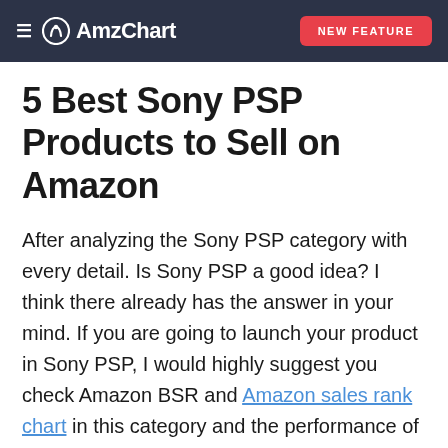AmzChart — NEW FEATURE
5 Best Sony PSP Products to Sell on Amazon
After analyzing the Sony PSP category with every detail. Is Sony PSP a good idea? I think there already has the answer in your mind. If you are going to launch your product in Sony PSP, I would highly suggest you check Amazon BSR and Amazon sales rank chart in this category and the performance of these high BSR products. No worries, I have prepared 5 top products in Sony PSP category for you to "spy